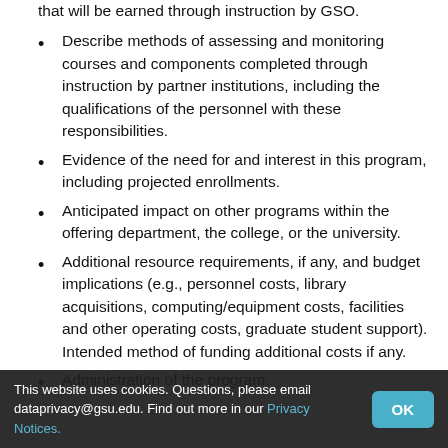that will be earned through instruction by GSO.
Describe methods of assessing and monitoring courses and components completed through instruction by partner institutions, including the qualifications of the personnel with these responsibilities.
Evidence of the need for and interest in this program, including projected enrollments.
Anticipated impact on other programs within the offering department, the college, or the university.
Additional resource requirements, if any, and budget implications (e.g., personnel costs, library acquisitions, computing/equipment costs, facilities and other operating costs, graduate student support). Intended method of funding additional costs if any.
Administration of the program.
Process for admitting students to the program.
Process for formally identifying dual program students (i.e. assigning program attribute in banner system).
Process for enabling students to take graduate coursework
This website uses cookies. Questions, please email dataprivacy@gsu.edu. Find out more in our Privacy Notices.